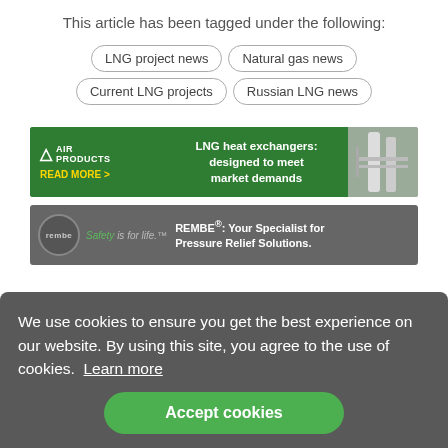This article has been tagged under the following:
LNG project news
Natural gas news
Current LNG projects
Russian LNG news
[Figure (infographic): Air Products advertisement banner: green background with Air Products logo, text 'LNG heat exchangers: designed to meet market demands', 'READ MORE >' in yellow, and a photo of industrial equipment.]
[Figure (infographic): REMBE advertisement banner: dark grey background with REMBE circular logo, 'Safety is for life.' tagline, text 'REMBE®: Your Specialist for Pressure Relief Solutions.']
We use cookies to ensure you get the best experience on our website. By using this site, you agree to the use of cookies.  Learn more
Accept cookies
ditions
Tel: +44 (0)1252 718 999